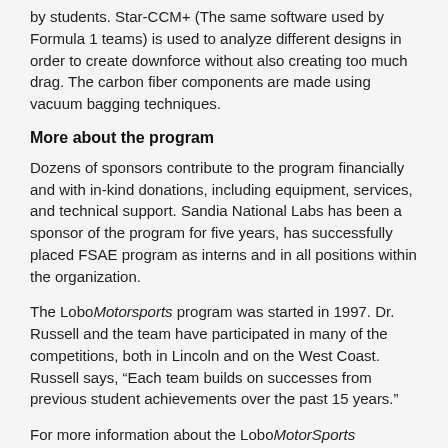by students. Star-CCM+ (The same software used by Formula 1 teams) is used to analyze different designs in order to create downforce without also creating too much drag. The carbon fiber components are made using vacuum bagging techniques.
More about the program
Dozens of sponsors contribute to the program financially and with in-kind donations, including equipment, services, and technical support. Sandia National Labs has been a sponsor of the program for five years, has successfully placed FSAE program as interns and in all positions within the organization.
The LoboMotorsports program was started in 1997. Dr. Russell and the team have participated in many of the competitions, both in Lincoln and on the West Coast. Russell says, “Each team builds on successes from previous student achievements over the past 15 years.”
For more information about the LoboMotorSports program, go to http://fsae.unm.edu/index.html or contact Dr. John J. Russell, jrussel@unm.edu; 505-277-1345 or 505-363-9435.